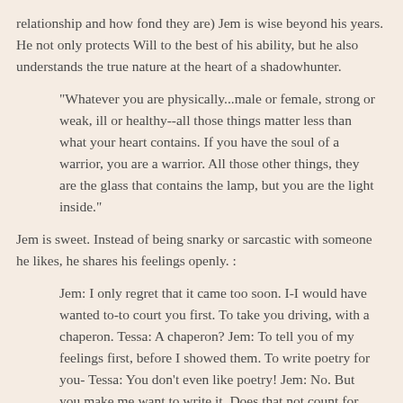relationship and how fond they are) Jem is wise beyond his years. He not only protects Will to the best of his ability, but he also understands the true nature at the heart of a shadowhunter.
"Whatever you are physically...male or female, strong or weak, ill or healthy--all those things matter less than what your heart contains. If you have the soul of a warrior, you are a warrior. All those other things, they are the glass that contains the lamp, but you are the light inside."
Jem is sweet. Instead of being snarky or sarcastic with someone he likes, he shares his feelings openly. :
Jem: I only regret that it came too soon. I-I would have wanted to-to court you first. To take you driving, with a chaperon. Tessa: A chaperon? Jem: To tell you of my feelings first, before I showed them. To write poetry for you- Tessa: You don't even like poetry! Jem: No. But you make me want to write it. Does that not count for anything?